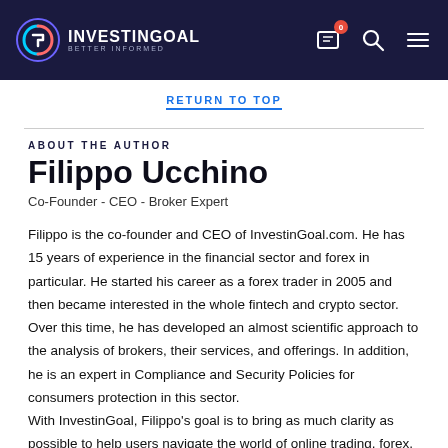[Figure (logo): InvestinGoal logo with circular G icon and text INVESTINGOAL BETTER INFORMED on dark navy background header]
RETURN TO TOP
ABOUT THE AUTHOR
Filippo Ucchino
Co-Founder - CEO - Broker Expert
Filippo is the co-founder and CEO of InvestinGoal.com. He has 15 years of experience in the financial sector and forex in particular. He started his career as a forex trader in 2005 and then became interested in the whole fintech and crypto sector.
Over this time, he has developed an almost scientific approach to the analysis of brokers, their services, and offerings. In addition, he is an expert in Compliance and Security Policies for consumers protection in this sector.
With InvestinGoal, Filippo's goal is to bring as much clarity as possible to help users navigate the world of online trading, forex, and